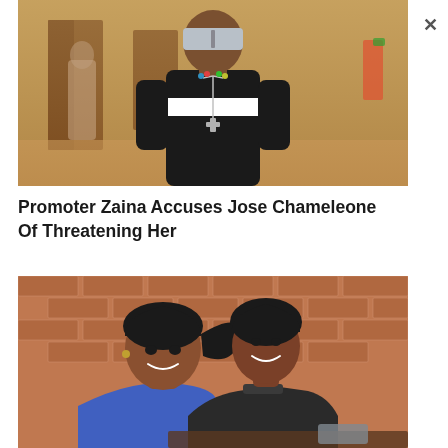[Figure (photo): A man wearing reflective sunglasses, a black long-sleeve shirt with a white stripe, and a cross necklace, standing in front of a building interior.]
Promoter Zaina Accuses Jose Chameleone Of Threatening Her
[Figure (photo): Two women smiling, one leaning on the other, in front of a brick wall. Both appear to be of African descent.]